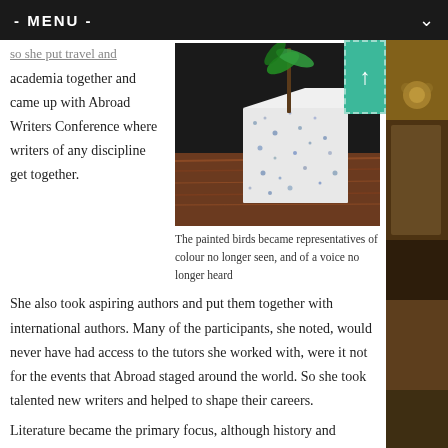- MENU -
so she put travel and academia together and came up with Abroad Writers Conference where writers of any discipline get together.
[Figure (photo): A white cube-shaped sculpture or object on a wooden surface with plant leaves visible in the background.]
The painted birds became representatives of colour no longer seen, and of a voice no longer heard
She also took aspiring authors and put them together with international authors. Many of the participants, she noted, would never have had access to the tutors she worked with, were it not for the events that Abroad staged around the world. So she took talented new writers and helped to shape their careers.
Literature became the primary focus, although history and